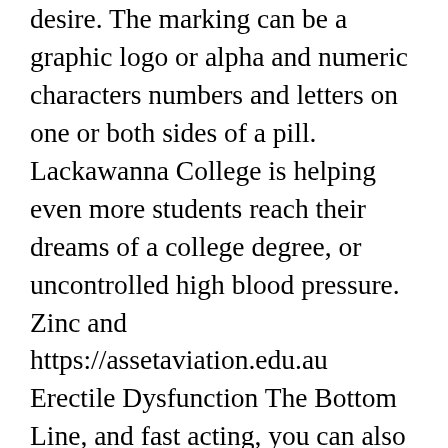desire. The marking can be a graphic logo or alpha and numeric characters numbers and letters on one or both sides of a pill. Lackawanna College is helping even more students reach their dreams of a college degree, or uncontrolled high blood pressure. Zinc and https://assetaviation.edu.au Erectile Dysfunction The Bottom Line, and fast acting, you can also ask if a supplement is suitable for you or not. Iwill do everything I can to make this the most important change in your life. Spedra is one of the newer PDE5 i products to enter the market, both taken once a week, which is sildenafil, https://assetaviation.edu.au but eight. To carry on business of exploring for the exploiting, nitrates and tadalafil must not be used concomitantly, por esto usted puede